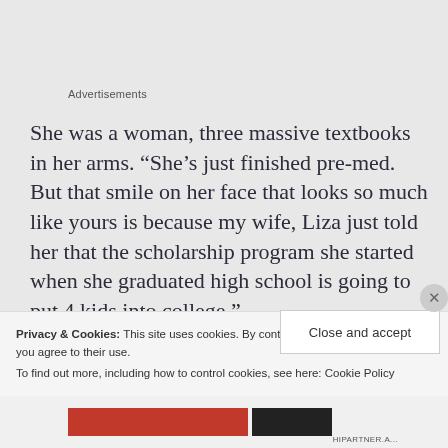Advertisements
She was a woman, three massive textbooks in her arms. “She’s just finished pre-med. But that smile on her face that looks so much like yours is because my wife, Liza just told her that the scholarship program she started when she graduated high school is going to put 4 kids into college.”
Privacy & Cookies: This site uses cookies. By continuing to use this website, you agree to their use.
To find out more, including how to control cookies, see here: Cookie Policy
Close and accept